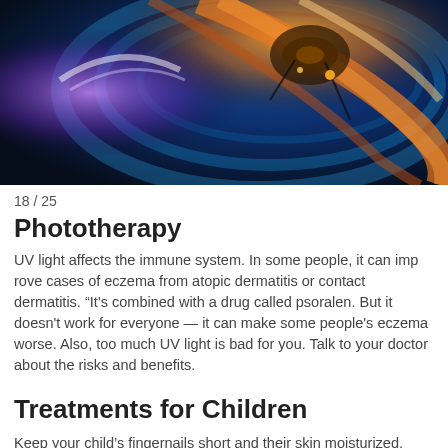[Figure (photo): Close-up photograph of a UV/phototherapy light source with swirling orange and blue light patterns, resembling a lamp filament with colorful illumination.]
18 / 25
Phototherapy
UV light affects the immune system. In some people, it can improve cases of eczema from atopic dermatitis or contact dermatitis. “It’s combined with a drug called psoralen. But it doesn't work for everyone — it can make some people's eczema worse. Also, too much UV light is bad for you. Talk to your doctor about the risks and benefits.
Treatments for Children
Keep your child’s fingernails short and their skin moisturized. Dress them in loose-fitting clothes and make sure they don’t